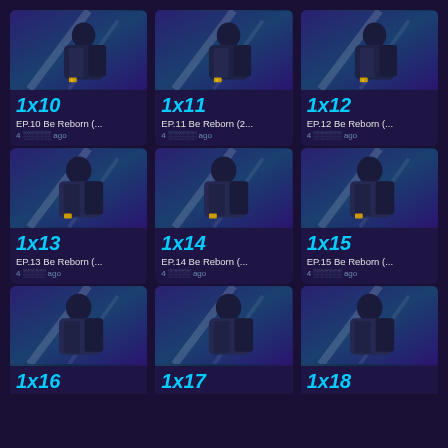[Figure (screenshot): Grid of TV show episode thumbnails for 'Be Reborn' series, episodes 1x10 through 1x18, showing a man in a dark jacket against a sci-fi background]
1x10
EP.10 Be Reborn (...
4       ago
1x11
EP.11 Be Reborn (2...
4       ago
1x12
EP.12 Be Reborn (...
4       ago
1x13
EP.13 Be Reborn (...
4       ago
1x14
EP.14 Be Reborn (...
4       ago
1x15
EP.15 Be Reborn (...
4       ago
1x16 (partial)
1x17 (partial)
1x18 (partial)